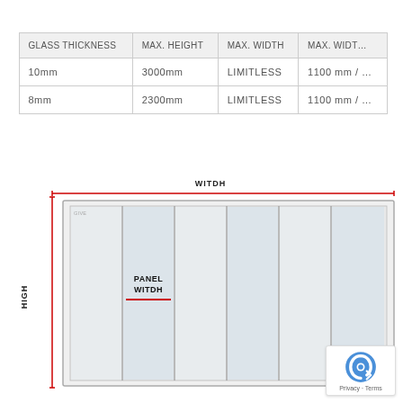| GLASS THICKNESS | MAX. HEIGHT | MAX. WIDTH | MAX. WIDTH |
| --- | --- | --- | --- |
| 10mm | 3000mm | LIMITLESS | 1100 mm / … |
| 8mm | 2300mm | LIMITLESS | 1100 mm / … |
[Figure (engineering-diagram): Diagram of a sliding glass panel system showing WIDTH dimension arrow across the top (red horizontal line labeled WITDH), HIGH dimension arrow on the left side (red vertical line labeled HIGH), and PANEL WITDH label with a red underline inside one of the glass panels. The system shows 6 vertical glass panels in a frame.]